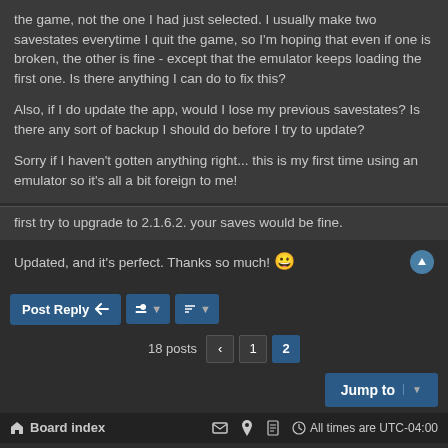the game, not the one I had just selected. I usually make two savestates everytime I quit the game, so I'm hoping that even if one is broken, the other is fine - except that the emulator keeps loading the first one. Is there anything I can do to fix this?

Also, if I do update the app, would I lose my previous savestates? Is there any sort of backup I should do before I try to update?

Sorry if I haven't gotten anything right... this is my first time using an emulator so it's all a bit foreign to me!
first try to upgrade to 2.1.6.2. your saves would be fine.
Updated, and it's perfect. Thanks so much! 😀
Post Reply | tool | sort | 18 posts 1 2 | Jump to | Board index | All times are UTC-04:00 | Powered by phpBB® Forum Software © phpBB Limited | Black Style by Arty